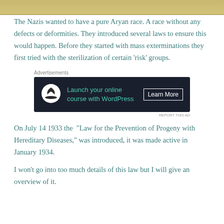[Figure (photo): Top banner image strip showing a historical photograph, partially cropped]
The Nazis wanted to have a pure Aryan race. A race without any defects or deformities. They introduced several laws to ensure this would happen. Before they started with mass exterminations they first tried with the sterilization of certain 'risk' groups.
[Figure (screenshot): Advertisement banner: dark background with bonsai tree icon and text 'Launch your online course with WordPress' with 'Learn More' button]
On July 14 1933 the “Law for the Prevention of Progeny with Hereditary Diseases,” was introduced, it was made active in January 1934.
I won’t go into too much details of this law but I will give an overview of it.